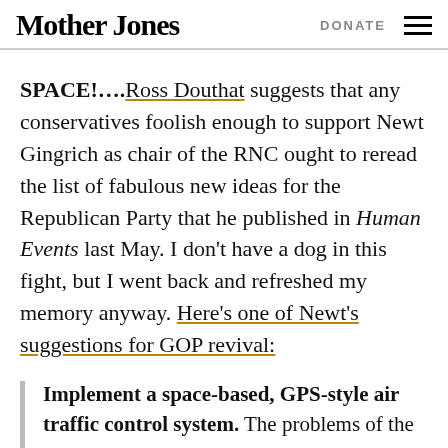Mother Jones | DONATE
SPACE!....Ross Douthat suggests that any conservatives foolish enough to support Newt Gingrich as chair of the RNC ought to reread the list of fabulous new ideas for the Republican Party that he published in Human Events last May. I don't have a dog in this fight, but I went back and refreshed my memory anyway. Here's one of Newt's suggestions for GOP revival:
Implement a space-based, GPS-style air traffic control system. The problems of the Federal Aviation Administration are symptoms